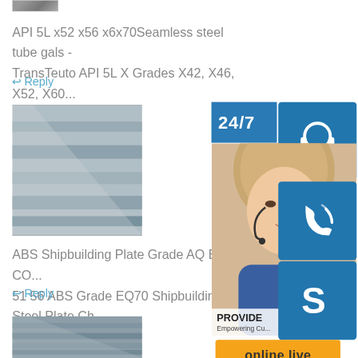[Figure (photo): Partial top product photo (cropped steel tube/pipe image)]
API 5L x52 x56 x6x70Seamless steel tube gals -
TransTeuto API 5L X Grades X42, X46, X52, X60...
↩ Reply
[Figure (photo): Steel plate product photo - flat metallic plate stack]
ABS Shipbuilding Plate Grade AQ BQ CO...
51 56 ABS Grade EQ70 Shipbuilding Steel Plate Ch...
↩ Reply
[Figure (photo): Partial bottom product photo - steel sheets]
[Figure (infographic): Customer service overlay widget with 24/7 banner, headset/phone/Skype icons, customer service agent photo, online live button, and scroll-to-top button]